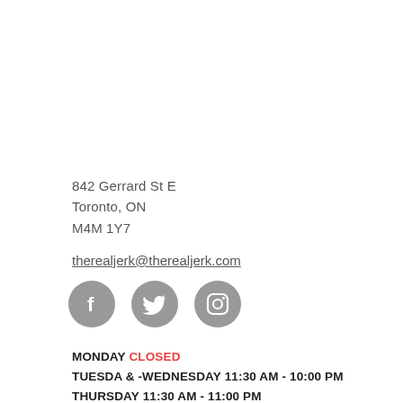842 Gerrard St E
Toronto, ON
M4M 1Y7
therealjerk@therealjerk.com
[Figure (illustration): Three social media icons (Facebook, Twitter, Instagram) as grey circles with white icons]
MONDAY  CLOSED
TUESDA & -WEDNESDAY 11:30 AM - 10:00 PM
THURSDAY 11:30 AM - 11:00 PM
FRIDAY   11:30 AM - 11:00 PM
SATURDAY   1:00 PM - 11:00 PM
SUNDAY   2:00 PM - 10:00 PM